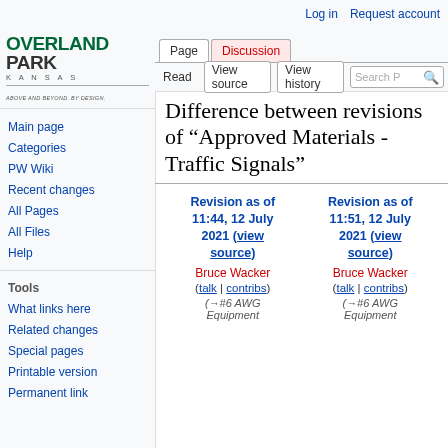Log in | Request account
[Figure (logo): Overland Park Kansas logo with tagline 'Above and Beyond. By Design.']
Page | Discussion | Read | View source | View history | Search
Difference between revisions of "Approved Materials - Traffic Signals"
Main page
Categories
PW Wiki
Recent changes
All Pages
All Files
Help
Tools
What links here
Related changes
Special pages
Printable version
Permanent link
| Revision as of 11:44, 12 July 2021 (view source) | Revision as of 11:51, 12 July 2021 (view source) |
| --- | --- |
| Bruce Wacker | Bruce Wacker |
| (talk | contribs) | (talk | contribs) |
| (→#6 AWG Equipment | (→#6 AWG Equipment |